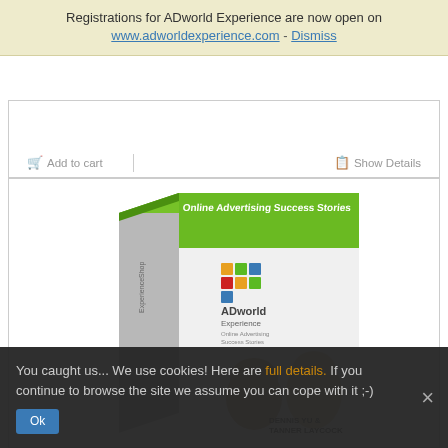Registrations for ADworld Experience are now open on www.adworldexperience.com - Dismiss
Add to cart   Show Details
[Figure (illustration): 3D box product mockup for 'Online Advertising Success Stories' by ADworld Experience, featuring the ADworld Experience logo with colorful diamond shapes, and the authors Dennis Yu & Tanner Laycock shown on the front cover, with a green top panel.]
You caught us... We use cookies! Here are full details. If you continue to browse the site we assume you can cope with it ;-)
Ok